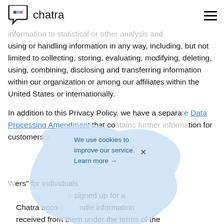chatra
information to statistical or other analysis and using or handling information in any way, including, but not limited to collecting, storing, evaluating, modifying, deleting, using, combining, disclosing and transferring information within our organization or among our affiliates within the United States or internationally.
In addition to this Privacy Policy, we have a separate Data Processing Amendment that contains further information for customers subject to...
We use cookies to improve our service. Learn more →
...ers" for individuals ...e signed up for a Chatra accou...ndle information received from them under the terms of the